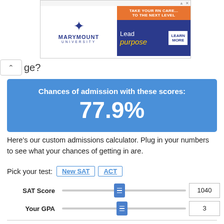[Figure (screenshot): Advertisement banner for Marymount University with fleur-de-lis logo and blue/orange 'Take your RN career to the next level. Lead with purpose. Learn more.' ad content.]
ge?
[Figure (infographic): Blue box showing: Chances of admission with these scores: 77.9%]
Here's our custom admissions calculator. Plug in your numbers to see what your chances of getting in are.
Pick your test: New SAT   ACT
SAT Score   1040
Your GPA   3
Note: Your admission decision relies not only on your GPA and SAT/ACT scores, but also on your coursework difficulty, extracurriculars, letters of recommendation, and personal statements. This tool provides only a